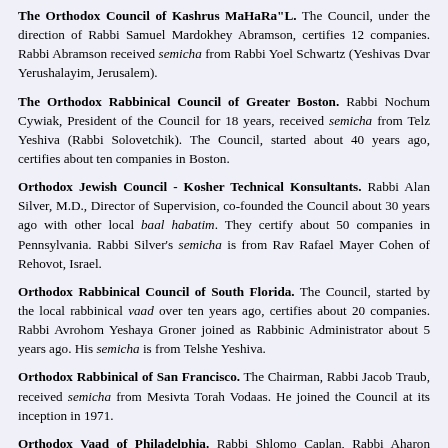The Orthodox Council of Kashrus MaHaRa"L. The Council, under the direction of Rabbi Samuel Mardokhey Abramson, certifies 12 companies. Rabbi Abramson received semicha from Rabbi Yoel Schwartz (Yeshivas Dvar Yerushalayim, Jerusalem).
The Orthodox Rabbinical Council of Greater Boston. Rabbi Nochum Cywiak, President of the Council for 18 years, received semicha from Telz Yeshiva (Rabbi Solovetchik). The Council, started about 40 years ago, certifies about ten companies in Boston.
Orthodox Jewish Council - Kosher Technical Konsultants. Rabbi Alan Silver, M.D., Director of Supervision, co-founded the Council about 30 years ago with other local baal habatim. They certify about 50 companies in Pennsylvania. Rabbi Silver's semicha is from Rav Rafael Mayer Cohen of Rehovot, Israel.
Orthodox Rabbinical Council of South Florida. The Council, started by the local rabbinical vaad over ten years ago, certifies about 20 companies. Rabbi Avrohom Yeshaya Groner joined as Rabbinic Administrator about 5 years ago. His semicha is from Telshe Yeshiva.
Orthodox Rabbinical of San Francisco. The Chairman, Rabbi Jacob Traub, received semicha from Mesivta Torah Vodaas. He joined the Council at its inception in 1971.
Orthodox Vaad of Philadelphia. Rabbi Shlomo Caplan, Rabbi Aharon Felder, and Rabbi Yehoshua Kaganoff co-founded the Vaad about ten years ago. They certify about fifteen companies locally, mostly restaurants and bakeries.